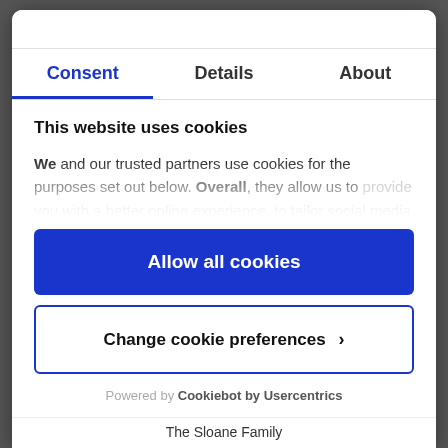Consent | Details | About
This website uses cookies
We and our trusted partners use cookies for the purposes set out below. Overall, they allow us to provide you with a better online experience, to tailor social media features, preferences and marketing, and
Allow all cookies
Change cookie preferences >
Powered by Cookiebot by Usercentrics
The Sloane Family